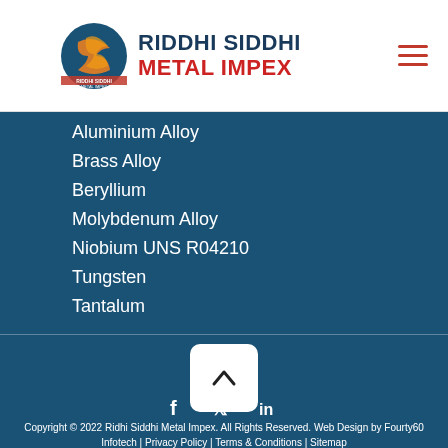RIDDHI SIDDHI METAL IMPEX
Aluminium Alloy
Brass Alloy
Beryllium
Molybdenum Alloy
Niobium UNS R04210
Tungsten
Tantalum
Copyright © 2022 Ridhi Siddhi Metal Impex. All Rights Reserved. Web Design by Fourty60 Infotech | Privacy Policy | Terms & Conditions | Sitemap